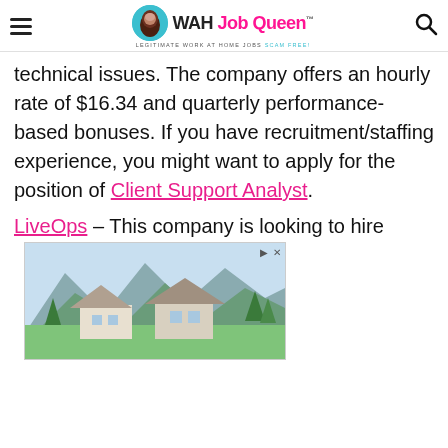WAH Job Queen™ — LEGITIMATE WORK AT HOME JOBS SCAM FREE!
technical issues. The company offers an hourly rate of $16.34 and quarterly performance-based bonuses. If you have recruitment/staffing experience, you might want to apply for the position of Client Support Analyst.
LiveOps – This company is looking to hire
[Figure (photo): Advertisement banner showing a mountain lodge/house with green meadows and mountains in the background]